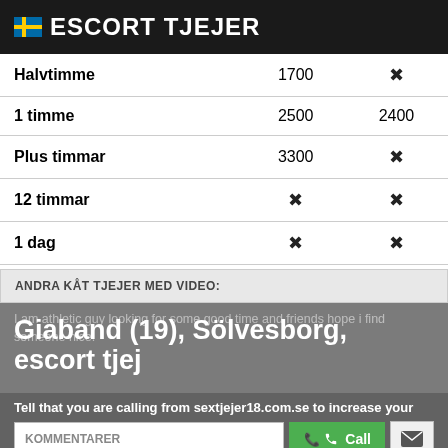🇸🇪 ESCORT TJEJER
|  |  |  |
| --- | --- | --- |
| Halvtimme | 1700 | ✗ |
| 1 timme | 2500 | 2400 |
| Plus timmar | 3300 | ✗ |
| 12 timmar | ✗ | ✗ |
| 1 dag | ✗ | ✗ |
ANDRA KÅT TJEJER MED VIDEO:
I am athletic guy looking for some good time and friends hope i find someone nice.
Giaband (19), Sölvesborg, escort tjej
Tell that you are calling from sextjejer18.com.se to increase your chances of getting a discount.
KOMMENTARER